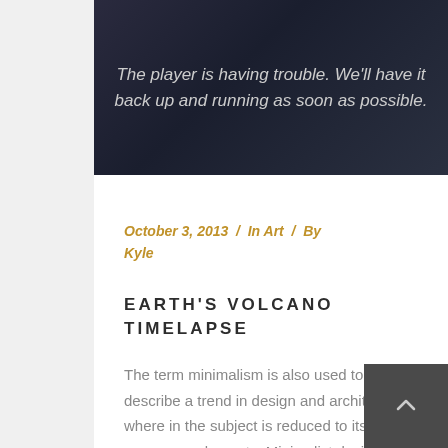[Figure (screenshot): Dark video player banner with error message text on dark background]
October 3, 2013 / In Art / By Kyle
EARTH'S VOLCANO TIMELAPSE
The term minimalism is also used to describe a trend in design and architecture where in the subject is reduced to its necessary elements. Minimalist design has been highly influenced by Japanese traditional design and architecture. In addition, the work